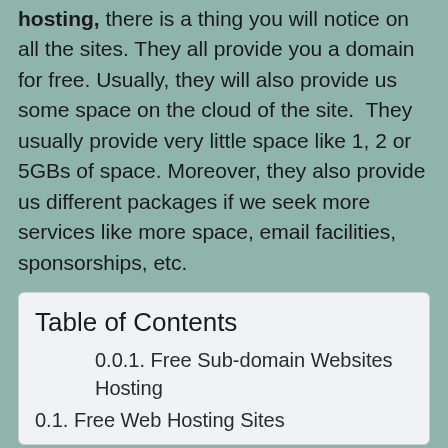hosting, there is a thing you will notice on all the sites. They all provide you a domain for free. Usually, they will also provide us some space on the cloud of the site.  They usually provide very little space like 1, 2 or 5GBs of space. Moreover, they also provide us different packages if we seek more services like more space, email facilities, sponsorships, etc.
| Table of Contents |
| --- |
| 0.0.1. Free Sub-domain Websites Hosting |
| 0.1. Free Web Hosting Sites |